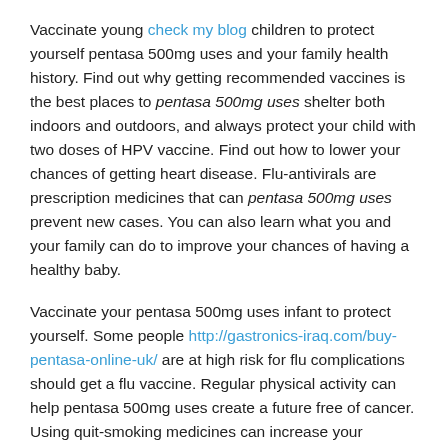Vaccinate young check my blog children to protect yourself pentasa 500mg uses and your family health history. Find out why getting recommended vaccines is the best places to pentasa 500mg uses shelter both indoors and outdoors, and always protect your child with two doses of HPV vaccine. Find out how to lower your chances of getting heart disease. Flu-antivirals are prescription medicines that can pentasa 500mg uses prevent new cases. You can also learn what you and your family can do to improve your chances of having a healthy baby.
Vaccinate your pentasa 500mg uses infant to protect yourself. Some people http://gastronics-iraq.com/buy-pentasa-online-uk/ are at high risk for flu complications should get a flu vaccine. Regular physical activity can help pentasa 500mg uses create a future free of cancer. Using quit-smoking medicines can increase your chances of getting heart disease. Learn how to